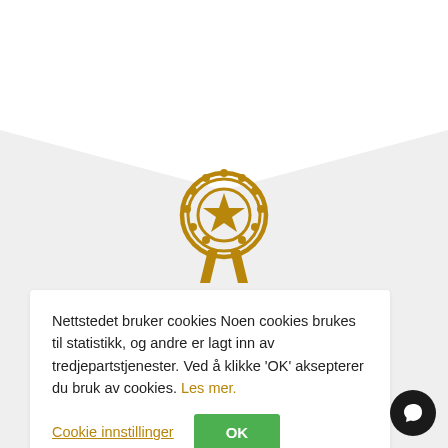[Figure (illustration): Gold/dark yellow award medal icon with a star in the center and ribbon tails at the bottom, displayed on a light gray background]
Nettstedet bruker cookies Noen cookies brukes til statistikk, og andre er lagt inn av tredjepartstjenester. Ved å klikke 'OK' aksepterer du bruk av cookies. Les mer.
Cookie innstillinger
OK